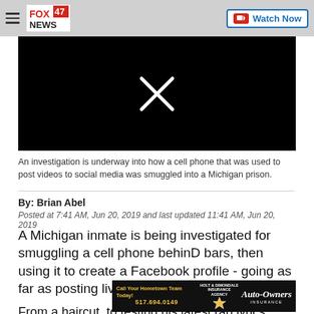FOX 47 NEWS | Watch Now
[Figure (screenshot): Black video player with a white X (close/error) mark in the center]
An investigation is underway into how a cell phone that was used to post videos to social media was smuggled into a Michigan prison.
By: Brian Abel
Posted at 7:41 AM, Jun 20, 2019 and last updated 11:41 AM, Jun 20, 2019
A Michigan inmate is being investigated for smuggling a cell phone behinD bars, then using it to create a Facebook profile - going as far as posting live videos to it.
[Figure (other): Auto-Owners Insurance advertisement banner with Holt & Dimondale Insurance Agency logo and phone number 517.694.0149]
From a haircut, to testing his latest rap lyrics, Dajuan